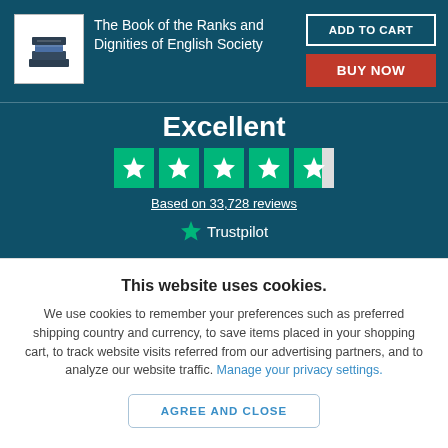[Figure (logo): Book stack logo in white square]
The Book of the Ranks and Dignities of English Society
ADD TO CART
BUY NOW
Excellent
[Figure (other): Trustpilot 4.5-star rating with 5 green star boxes]
Based on 33,728 reviews
Trustpilot
This website uses cookies.
We use cookies to remember your preferences such as preferred shipping country and currency, to save items placed in your shopping cart, to track website visits referred from our advertising partners, and to analyze our website traffic. Manage your privacy settings.
AGREE AND CLOSE